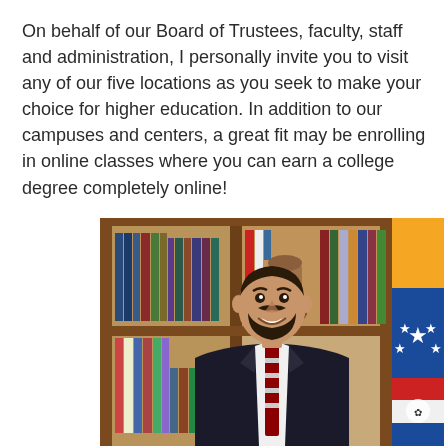On behalf of our Board of Trustees, faculty, staff and administration, I personally invite you to visit any of our five locations as you seek to make your choice for higher education. In addition to our campuses and centers, a great fit may be enrolling in online classes where you can earn a college degree completely online!
[Figure (photo): A man in a dark suit and red striped tie smiling, seated in front of a wooden bookshelf filled with books, with flags visible in the background including what appears to be a state flag.]